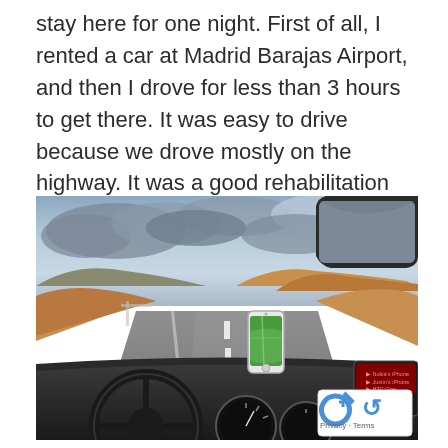stay here for one night. First of all, I rented a car at Madrid Barajas Airport, and then I drove for less than 3 hours to get there. It was easy to drive because we drove mostly on the highway. It was a good rehabilitation for me to drive on the left and right side of the road after 6 months.
[Figure (photo): View from inside a car on a Spanish highway, dashboard visible with steering wheel and gauges, a smartphone mounted on the windshield showing navigation, rear-view mirror visible at top right, red-earth hillsides and cloudy sky in the background. A reCAPTCHA Privacy-Terms badge is overlaid at bottom right.]